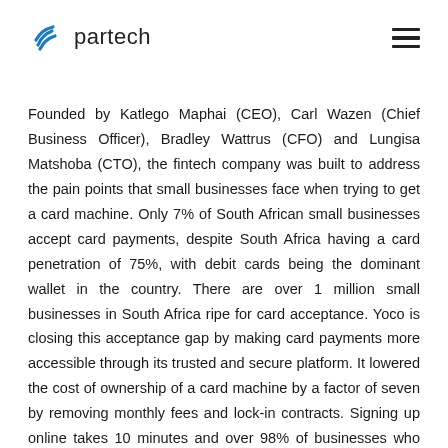partech
Founded by Katlego Maphai (CEO), Carl Wazen (Chief Business Officer), Bradley Wattrus (CFO) and Lungisa Matshoba (CTO), the fintech company was built to address the pain points that small businesses face when trying to get a card machine. Only 7% of South African small businesses accept card payments, despite South Africa having a card penetration of 75%, with debit cards being the dominant wallet in the country. There are over 1 million small businesses in South Africa ripe for card acceptance. Yoco is closing this acceptance gap by making card payments more accessible through its trusted and secure platform. It lowered the cost of ownership of a card machine by a factor of seven by removing monthly fees and lock-in contracts. Signing up online takes 10 minutes and over 98% of businesses who apply get approved, thanks to its proprietary fraud management system.